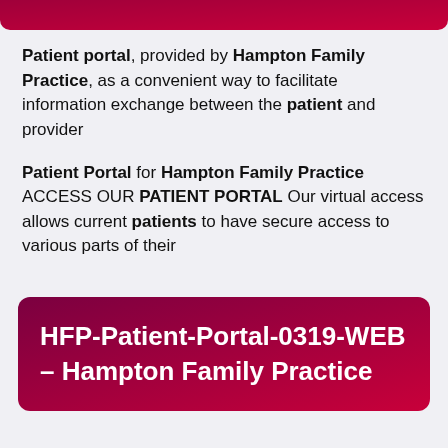Patient portal, provided by Hampton Family Practice, as a convenient way to facilitate information exchange between the patient and provider
Patient Portal for Hampton Family Practice ACCESS OUR PATIENT PORTAL Our virtual access allows current patients to have secure access to various parts of their
HFP-Patient-Portal-0319-WEB – Hampton Family Practice